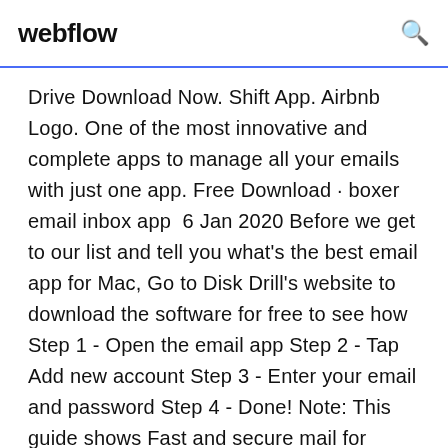webflow
Drive Download Now. Shift App. Airbnb Logo. One of the most innovative and complete apps to manage all your emails with just one app. Free Download · boxer email inbox app  6 Jan 2020 Before we get to our list and tell you what's the best email app for Mac, Go to Disk Drill's website to download the software for free to see how  Step 1 - Open the email app Step 2 - Tap Add new account Step 3 - Enter your email and password Step 4 - Done! Note: This guide shows Fast and secure mail for Gmail, Outlook, and more. Take back control from read receipts in your mail by blocking them automatically, without disabling images